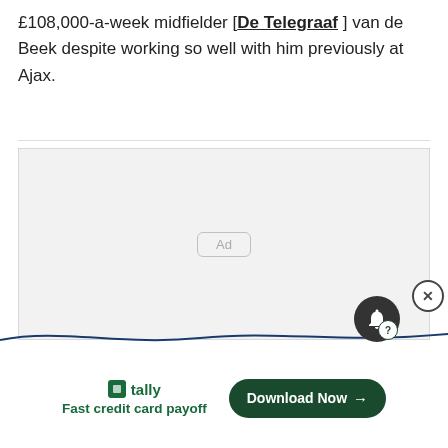£108,000-a-week midfielder [De Telegraaf] van de Beek despite working so well with him previously at Ajax.
[Figure (other): Advertisement placeholder box with 'Ad' label in center, followed by a tally app promotional banner with 'Fast credit card payoff' text and a 'Download Now' button.]